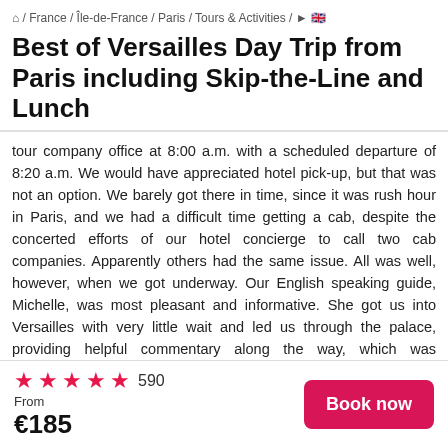⌂ / France / Île-de-France / Paris / Tours & Activities / ► 🇬🇧
Best of Versailles Day Trip from Paris including Skip-the-Line and Lunch
tour company office at 8:00 a.m. with a scheduled departure of 8:20 a.m. We would have appreciated hotel pick-up, but that was not an option. We barely got there in time, since it was rush hour in Paris, and we had a difficult time getting a cab, despite the concerted efforts of our hotel concierge to call two cab companies. Apparently others had the same issue. All was well, however, when we got underway. Our English speaking guide, Michelle, was most pleasant and informative. She got us into Versailles with very little wait and led us through the palace, providing helpful commentary along the way, which was communicated to us through our ear buds. Unfortunately, her equipment was not the best, so it was often difficult to hear her unless we were right beside her, which was not
★★★★★ 590
From
€185
Book now